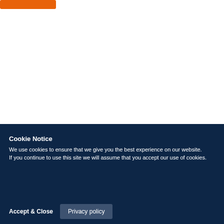[Figure (other): Orange button at top left of page]
Cookie Notice
We use cookies to ensure that we give you the best experience on our website.
If you continue to use this site we will assume that you accept our use of cookies.
Accept & Close
Privacy policy